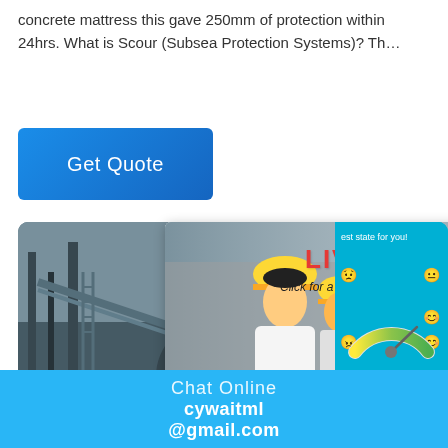concrete mattress this gave 250mm of protection within 24hrs. What is Scour (Subsea Protection Systems)? Th…
[Figure (screenshot): Blue 'Get Quote' button with gradient background]
[Figure (screenshot): Live chat overlay showing workers in hard hats with 'LIVE CHAT - Click for a Free Consultation' text, Chat now and Chat later buttons, and a right sidebar with gauge/dial, 'Click me to chat >>' button, and 'Enquiry' section]
Chat Online
cywaitml@gmail.com